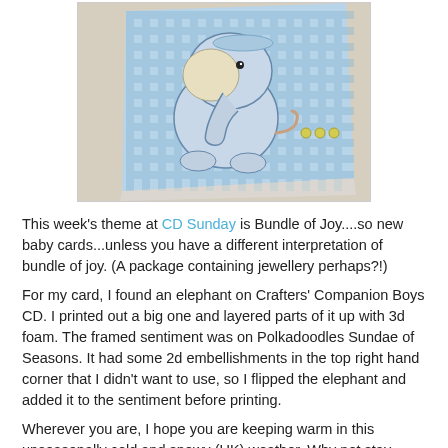[Figure (photo): A baby greeting card featuring a cute cartoon elephant on a blue gingham/check pattern background, with small yellow buttons in the top right corner. The card is propped up against a beige/cream textured surface.]
This week's theme at CD Sunday is Bundle of Joy....so new baby cards...unless you have a different interpretation of bundle of joy. (A package containing jewellery perhaps?!)
For my card, I found an elephant on Crafters' Companion Boys CD. I printed out a big one and layered parts of it up with 3d foam. The framed sentiment was on Polkadoodles Sundae of Seasons. It had some 2d embellishments in the top right hand corner that I didn't want to use, so I flipped the elephant and added it to the sentiment before printing.
Wherever you are, I hope you are keeping warm in this unseasonally cold and snowy (UK) weather. Why not stay